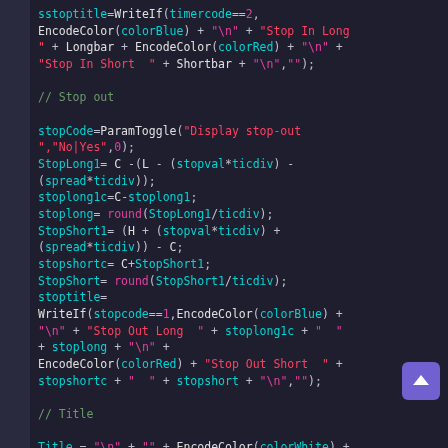[Figure (screenshot): Dark-themed code editor screenshot showing EasyLanguage/trading script code with syntax highlighting. Code includes sstoptitle WriteIf, stopCode ParamToggle, StopLong1, StopShort1 calculations, WriteIf for stop-out display, and Title assignment. Keywords in cyan, string literals in pink/red/orange, function names in white.]